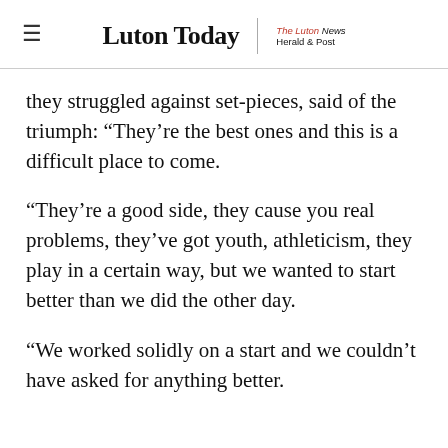Luton Today | The Luton News Herald & Post
they struggled against set-pieces, said of the triumph: “They’re the best ones and this is a difficult place to come.
“They’re a good side, they cause you real problems, they’ve got youth, athleticism, they play in a certain way, but we wanted to start better than we did the other day.
“We worked solidly on a start and we couldn’t have asked for anything better.